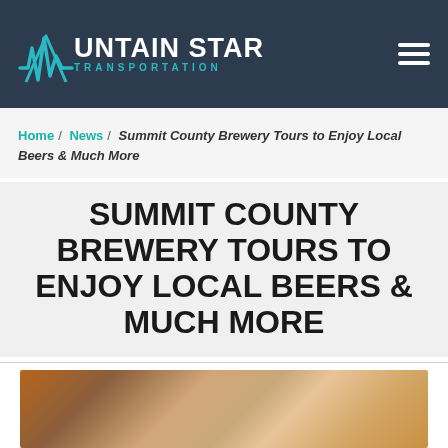Mountain Star Transportation
Home / News / Summit County Brewery Tours to Enjoy Local Beers & Much More
SUMMIT COUNTY BREWERY TOURS TO ENJOY LOCAL BEERS & MUCH MORE
[Figure (photo): Photo of snacks (pretzels, nuts) and a glass of beer on a wooden table]